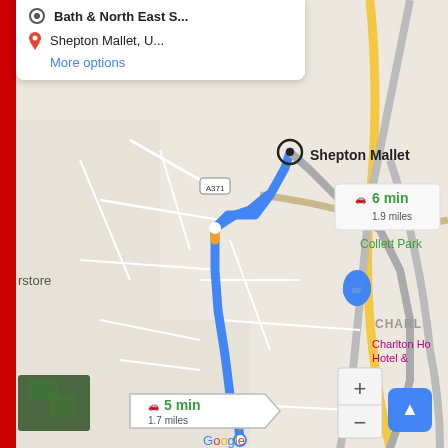[Figure (screenshot): Google Maps navigation screenshot showing a route to Shepton Mallet, with two route options: 6 min/1.9 miles and 5 min/1.7 miles. The map shows streets, a blue route line, road names including A371, A361, Cannards Grave Rd, Whitstone Rd, and landmarks including Collett Park, Charlton Hotel. A search panel at top shows destination 'Shepton Mallet, U...' with 'More options' link.]
Shepton Mallet, U...
More options
Shepton Mallet
6 min
1.9 miles
5 min
1.7 miles
Collett Park
Charlton Ho
Hotel &
CHARL
Cannards Grave Rd
Whitstone Rd
Google